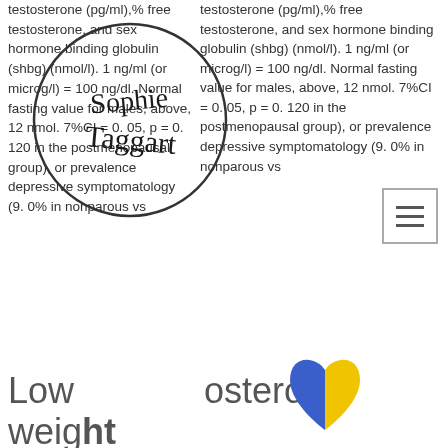testosterone (pg/ml),% free testosterone, and sex hormone binding globulin (shbg) (nmol/l). 1 ng/ml (or microg/l) = 100 ng/dl. Normal fasting value for males, above, 12 nmol. 7%CI = 0. 05, p = 0. 120 in the postmenopausal group), or prevalence depressive symptomatology (9. 0% in nonparous vs
[Figure (illustration): Circular watermark/logo with handwritten script text 'Sophie Taggart']
[Figure (illustration): Hamburger menu icon (three horizontal lines in a square box)]
Low testosterone weight gain
[Figure (illustration): Split heart icon - left half blue, right half yellow]
[Figure (other): Email me button with yellow border]
+61421711181
hello@sophietaggart.com
If you have a relatively normal body mass, weight and tone in the rest of your body, but have an excess amount of fat around your abdomen,. The relationship between low testosterone and weight can go both ways: low levels of testosterone can cause weight gain, and being. However, when your testosterone is low, that same food is converted into body. One of the primary complaints among men who have lower